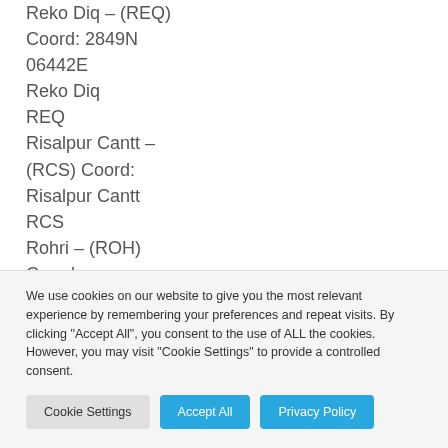Reko Diq – (REQ) Coord: 2849N 06442E
Reko Diq
REQ
Risalpur Cantt – (RCS) Coord:
Risalpur Cantt
RCS
Rohri – (ROH) Coord:
We use cookies on our website to give you the most relevant experience by remembering your preferences and repeat visits. By clicking "Accept All", you consent to the use of ALL the cookies. However, you may visit "Cookie Settings" to provide a controlled consent.
Cookie Settings | Accept All | Privacy Policy